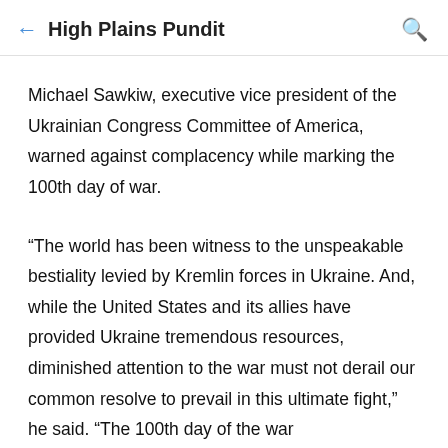High Plains Pundit
Michael Sawkiw, executive vice president of the Ukrainian Congress Committee of America, warned against complacency while marking the 100th day of war.
“The world has been witness to the unspeakable bestiality levied by Kremlin forces in Ukraine. And, while the United States and its allies have provided Ukraine tremendous resources, diminished attention to the war must not derail our common resolve to prevail in this ultimate fight,” he said. “The 100th day of the war